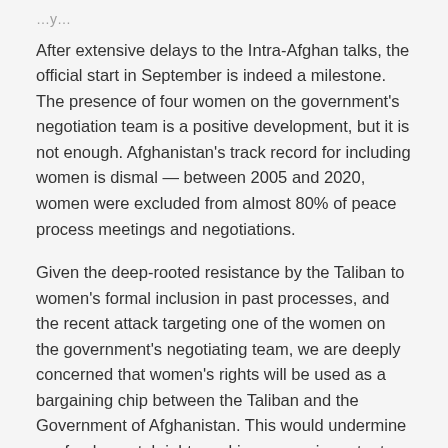…y…
After extensive delays to the Intra-Afghan talks, the official start in September is indeed a milestone. The presence of four women on the government's negotiation team is a positive development, but it is not enough. Afghanistan's track record for including women is dismal — between 2005 and 2020, women were excluded from almost 80% of peace process meetings and negotiations.
Given the deep-rooted resistance by the Taliban to women's formal inclusion in past processes, and the recent attack targeting one of the women on the government's negotiating team, we are deeply concerned that women's rights will be used as a bargaining chip between the Taliban and the Government of Afghanistan. This would undermine our fundamental rights and ignore our important contributions to the future of this country.